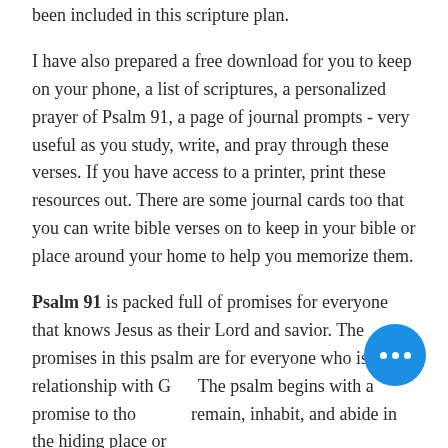been included in this scripture plan.
I have also prepared a free download for you to keep on your phone, a list of scriptures, a personalized prayer of Psalm 91, a page of journal prompts - very useful as you study, write, and pray through these verses. If you have access to a printer, print these resources out. There are some journal cards too that you can write bible verses on to keep in your bible or place around your home to help you memorize them.
Psalm 91 is packed full of promises for everyone that knows Jesus as their Lord and savior. The promises in this psalm are for everyone who is in a relationship with G... The psalm begins with a promise to those... remain, inhabit, and abide in the hiding place or